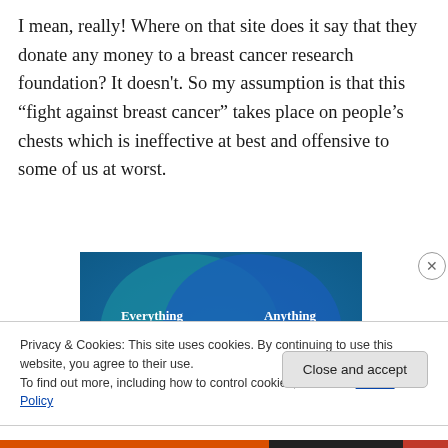I mean, really! Where on that site does it say that they donate any money to a breast cancer research foundation? It doesn't. So my assumption is that this “fight against breast cancer” takes place on people’s chests which is ineffective at best and offensive to some of us at worst.
[Figure (illustration): Venn diagram with two overlapping circles on a teal/blue gradient background. Left circle labeled 'Everything you need', right circle labeled 'Anything you want'.]
Privacy & Cookies: This site uses cookies. By continuing to use this website, you agree to their use.
To find out more, including how to control cookies, see here: Cookie Policy